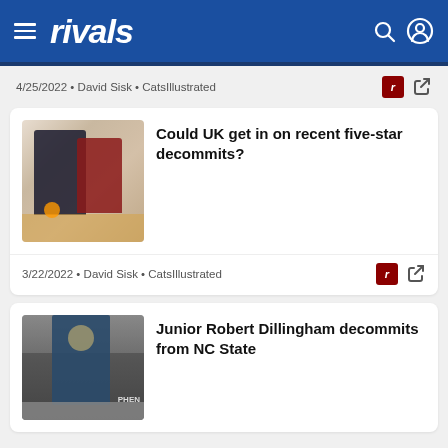rivals
4/25/2022 • David Sisk • CatsIllustrated
[Figure (photo): Basketball players in action on a court]
Could UK get in on recent five-star decommits?
3/22/2022 • David Sisk • CatsIllustrated
[Figure (photo): Basketball player standing on court near PHEN sign]
Junior Robert Dillingham decommits from NC State